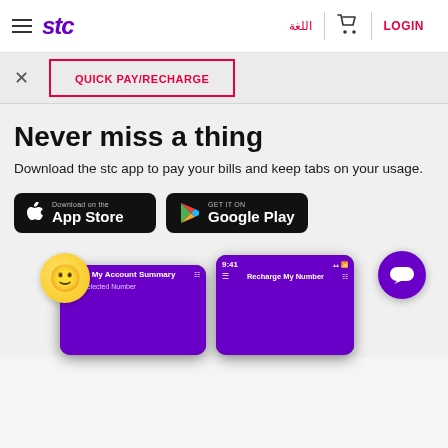stc | اللغة | LOGIN
QUICK PAY/RECHARGE
Never miss a thing
Download the stc app to pay your bills and keep tabs on your usage.
[Figure (screenshot): App Store and Google Play download buttons]
[Figure (screenshot): Two smartphone mockups showing the stc app — 'My Account Summary' and 'Recharge My Number' screens with purple UI]